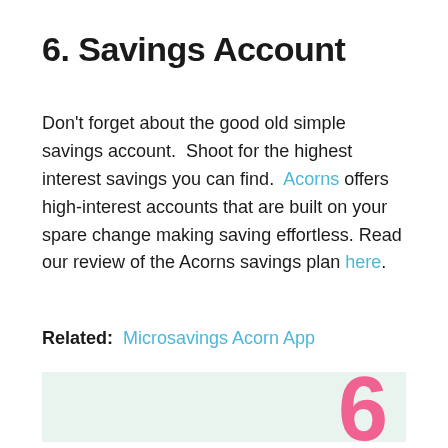6. Savings Account
Don't forget about the good old simple savings account.  Shoot for the highest interest savings you can find.  Acorns offers high-interest accounts that are built on your spare change making saving effortless. Read our review of the Acorns savings plan here.
Related:  Microsavings Acorn App
[Figure (illustration): Light green background panel with a large bold pink number 6 on the right side, partially cropped.]